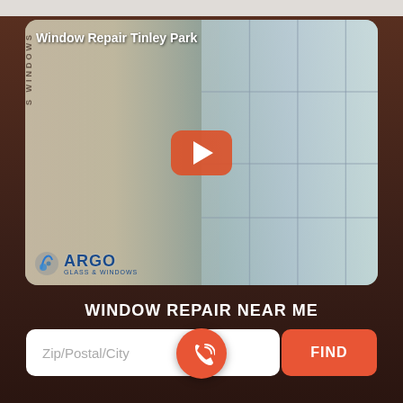[Figure (screenshot): YouTube video thumbnail showing window repair work, titled 'Window Repair Tinley Park' with ARGO Glass & Windows logo at bottom left and a play button overlay in the center]
WINDOW REPAIR NEAR ME
Zip/Postal/City
FIND